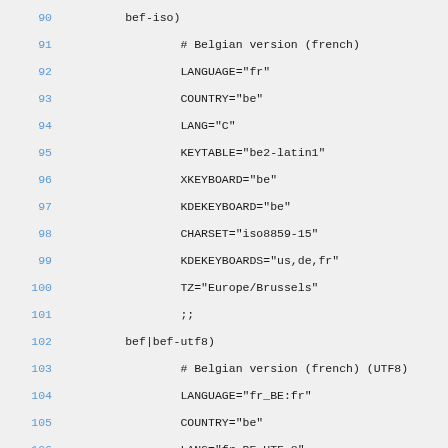90  bef-iso)
91    # Belgian version (french)
92    LANGUAGE="fr"
93    COUNTRY="be"
94    LANG="C"
95    KEYTABLE="be2-latin1"
96    XKEYBOARD="be"
97    KDEKEYBOARD="be"
98    CHARSET="iso8859-15"
99    KDEKEYBOARDS="us,de,fr"
100   TZ="Europe/Brussels"
101   ;;
102 bef|bef-utf8)
103   # Belgian version (french) (UTF8)
104   LANGUAGE="fr_BE:fr"
105   COUNTRY="be"
106   LANG="fr_BE.UTF-8"
107   KEYTABLE="be2-latin1"
108   XKEYBOARD="be"
109   KDEKEYBOARD="be"
110   CHARSET="utf8"
111   # Additional KDE Keyboards
112   KDEKEYBOARDS="us,de,fr"
113   TZ="Europe/Brussels"
114   ;;
115 beg-iso)
116   # Belgian version (german)